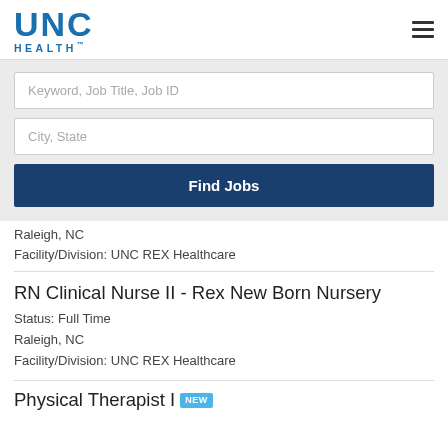[Figure (logo): UNC Health logo — blue UNC text with HEALTH below]
Keyword, Job Title, Job ID
City, State
Find Jobs
Raleigh, NC
Facility/Division: UNC REX Healthcare
RN Clinical Nurse II - Rex New Born Nursery
Status: Full Time
Raleigh, NC
Facility/Division: UNC REX Healthcare
Physical Therapist I NEW